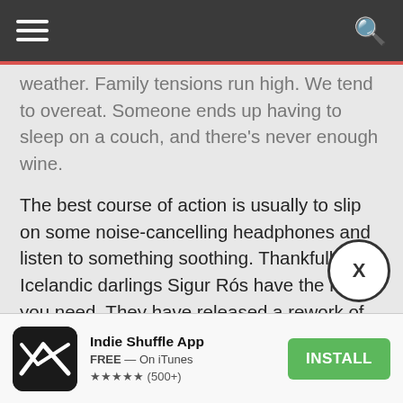≡  [hamburger menu]  Q [search]
weather. Family tensions run high. We tend to overeat. Someone ends up having to sleep on a couch, and there's never enough wine.
The best course of action is usually to slip on some noise-cancelling headphones and listen to something soothing. Thankfully, Icelandic darlings Sigur Rós have the noise you need. They have released a rework of "Hoppípolla" for Planet Earth II.
Arguably the band's most beloved, uplifting track, the song appears on the Plant Earth II
[Figure (screenshot): Indie Shuffle App advertisement banner with app icon, name, FREE — On iTunes, star rating (500+), and INSTALL button]